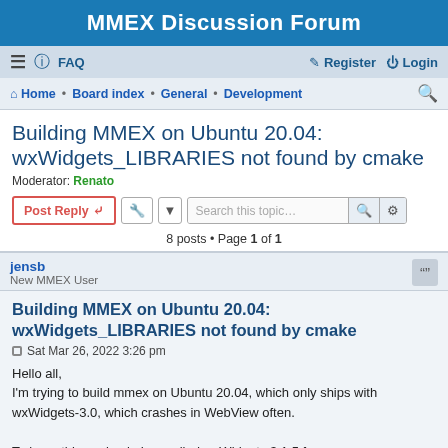MMEX Discussion Forum
≡  FAQ    Register  Login
Home · Board index · General · Development
Building MMEX on Ubuntu 20.04: wxWidgets_LIBRARIES not found by cmake
Moderator: Renato
Post Reply   Search this topic…
8 posts • Page 1 of 1
jensb
New MMEX User
Building MMEX on Ubuntu 20.04: wxWidgets_LIBRARIES not found by cmake
Sat Mar 26, 2022 3:26 pm
Hello all,
I'm trying to build mmex on Ubuntu 20.04, which only ships with wxWidgets-3.0, which crashes in WebView often.

To keep things simple I compiled wxWidgets 3.1.5 from source as